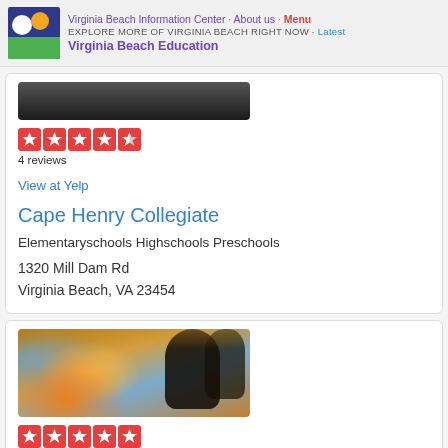Virginia Beach Information Center · About us · Menu | EXPLORE MORE OF VIRGINIA BEACH RIGHT NOW · Latest | Virginia Beach Education
[Figure (photo): Partial dark photo at top of first business card (cropped, top cut off)]
[Figure (other): Yelp star rating: 4.5 stars, 4 reviews]
4 reviews
View at Yelp
Cape Henry Collegiate
Elementaryschools Highschools Preschools
1320 Mill Dam Rd
Virginia Beach, VA 23454
[Figure (photo): Photo of women painting at a painting class event, colorful art in foreground]
[Figure (other): Yelp star rating: 4 stars (partially visible at bottom)]